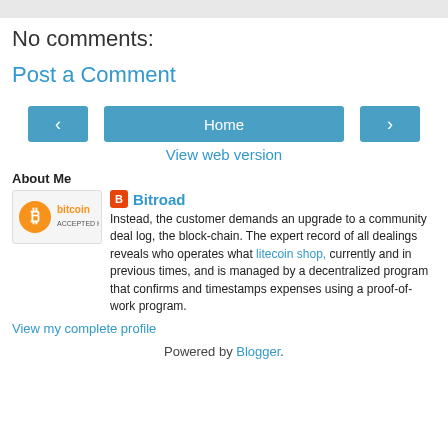No comments:
Post a Comment
[Figure (other): Navigation buttons: left arrow, Home, right arrow]
View web version
About Me
[Figure (logo): Bitcoin Accepted Here badge with orange Bitcoin logo]
Bitroad
Instead, the customer demands an upgrade to a community deal log, the block-chain. The expert record of all dealings reveals who operates what litecoin shop, currently and in previous times, and is managed by a decentralized program that confirms and timestamps expenses using a proof-of-work program.
View my complete profile
Powered by Blogger.